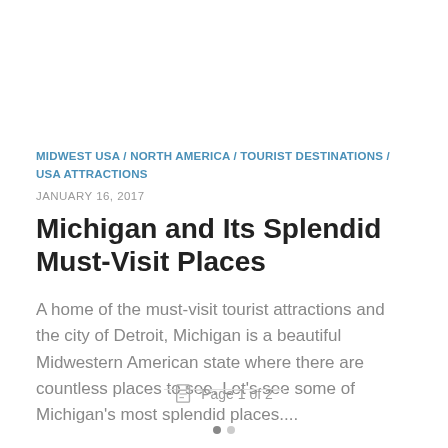MIDWEST USA / NORTH AMERICA / TOURIST DESTINATIONS / USA ATTRACTIONS
JANUARY 16, 2017
Michigan and Its Splendid Must-Visit Places
A home of the must-visit tourist attractions and the city of Detroit, Michigan is a beautiful Midwestern American state where there are countless places to see. Let's see some of Michigan's most splendid places....
Page 1 of 2